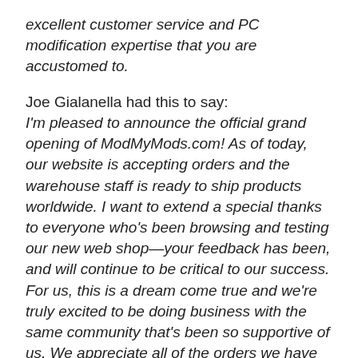excellent customer service and PC modification expertise that you are accustomed to.
Joe Gialanella had this to say: I'm pleased to announce the official grand opening of ModMyMods.com! As of today, our website is accepting orders and the warehouse staff is ready to ship products worldwide. I want to extend a special thanks to everyone who's been browsing and testing our new web shop—your feedback has been, and will continue to be critical to our success. For us, this is a dream come true and we're truly excited to be doing business with the same community that's been so supportive of us. We appreciate all of the orders we have received so far,